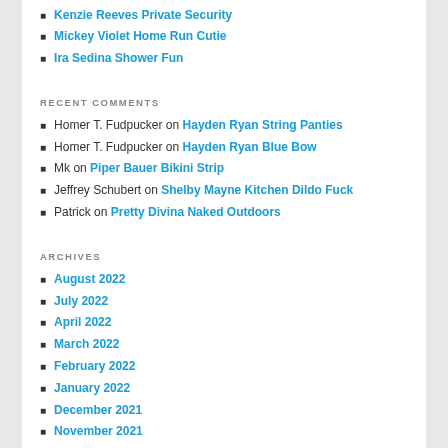Kenzie Reeves Private Security
Mickey Violet Home Run Cutie
Ira Sedina Shower Fun
RECENT COMMENTS
Homer T. Fudpucker on Hayden Ryan String Panties
Homer T. Fudpucker on Hayden Ryan Blue Bow
Mk on Piper Bauer Bikini Strip
Jeffrey Schubert on Shelby Mayne Kitchen Dildo Fuck
Patrick on Pretty Divina Naked Outdoors
ARCHIVES
August 2022
July 2022
April 2022
March 2022
February 2022
January 2022
December 2021
November 2021